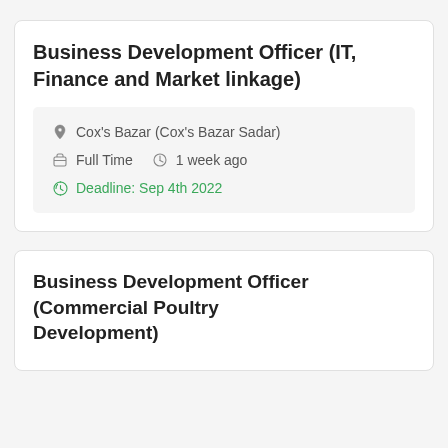Business Development Officer (IT, Finance and Market linkage)
Cox's Bazar (Cox's Bazar Sadar) | Full Time | 1 week ago | Deadline: Sep 4th 2022
Business Development Officer (Commercial Poultry Development)